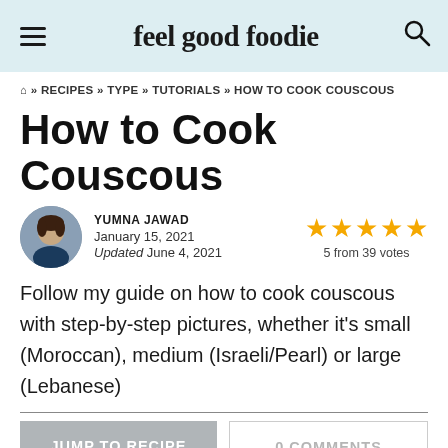feel good foodie
🏠 » RECIPES » TYPE » TUTORIALS » HOW TO COOK COUSCOUS
How to Cook Couscous
YUMNA JAWAD
January 15, 2021
Updated June 4, 2021
5 from 39 votes
Follow my guide on how to cook couscous with step-by-step pictures, whether it's small (Moroccan), medium (Israeli/Pearl) or large (Lebanese)
JUMP TO RECIPE
0 COMMENTS